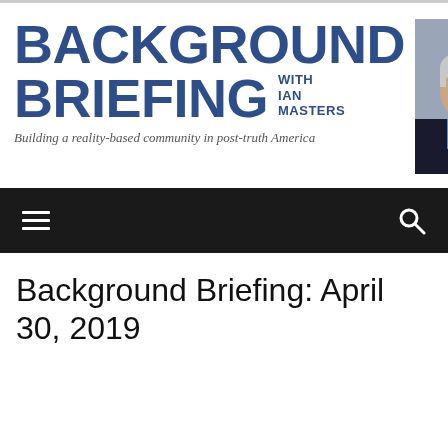[Figure (logo): Background Briefing with Ian Masters logo — large bold blue text 'BACKGROUND BRIEFING' with 'WITH IAN MASTERS' subtitle, accompanied by a headshot photo of Ian Masters]
Building a reality-based community in post-truth America
[Figure (screenshot): Dark navigation bar with hamburger menu icon on left and search icon on right]
Background Briefing: April 30, 2019